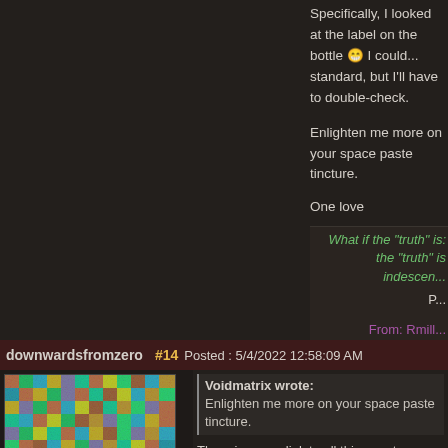Specifically, I looked at the label on the bottle 😁 I could... standard, but I'll have to double-check.
Enlighten me more on your space paste tincture.
One love
What if the "truth" is: the "truth" is indescen...
P...
From: Rmill...
DM...
Question everything... including questioning everything... There'... All posts and supposed experiences are from an imaginary inter... should be taken with a grain of salt. 🙂
downwardsfromzero
#14 Posted : 5/4/2022 12:58:09 AM
Voidmatrix wrote:
Enlighten me more on your space paste tincture.
There is now a link to all things nutmeg-related in my sig...